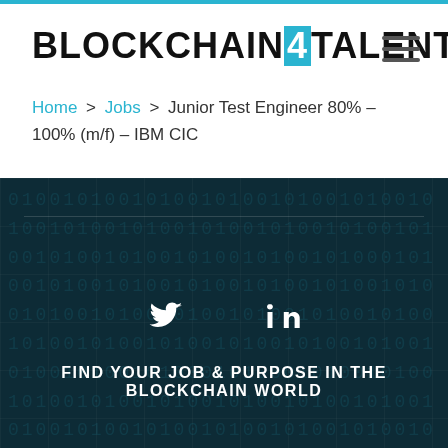BLOCKCHAIN4TALENT
Home > Jobs > Junior Test Engineer 80% – 100% (m/f) – IBM CIC
[Figure (screenshot): Dark teal/navy background with binary code pattern, social media icons (Twitter, LinkedIn), and tagline text 'FIND YOUR JOB & PURPOSE IN THE BLOCKCHAIN WORLD']
FIND YOUR JOB & PURPOSE IN THE BLOCKCHAIN WORLD